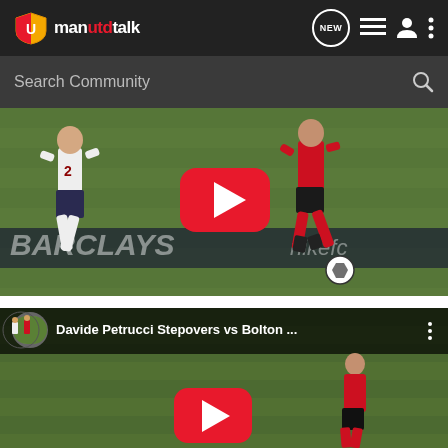manutdtalk — navigation header with NEW, list, person, and more icons
Search Community
[Figure (screenshot): Football match video thumbnail showing two players (one in white #2, one in red) on a pitch with BARCLAYS and nikefo advertising hoardings. YouTube play button overlay visible.]
[Figure (screenshot): YouTube video embed showing title 'Davide Petrucci Stepovers vs Bolton ...' with a player in red kit visible on a football pitch. YouTube play button visible at bottom.]